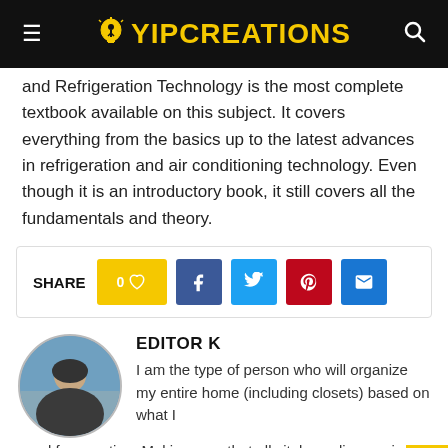YIPCREATIONS
and Refrigeration Technology is the most complete textbook available on this subject. It covers everything from the basics up to the latest advances in refrigeration and air conditioning technology. Even though it is an introductory book, it still covers all the fundamentals and theory.
[Figure (infographic): Share buttons row: heart/like button with 0, Facebook button, Twitter button, Pinterest button, Email button]
[Figure (photo): Circular avatar photo of a person seen from behind near water, wearing a hoodie]
EDITOR K
I am the type of person who will organize my entire home (including closets) based on what I need for vacation. Making sure that all vital supplies are in one place, even if it means putting them into a carry-on and